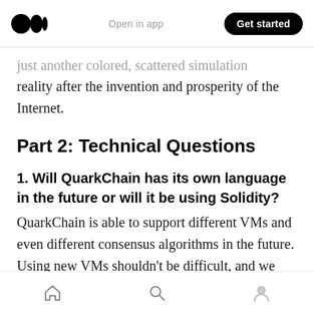Medium app header — Open in app | Get started
just another colored, scattered simulation reality after the invention and prosperity of the Internet.
Part 2: Technical Questions
1. Will QuarkChain has its own language in the future or will it be using Solidity?
QuarkChain is able to support different VMs and even different consensus algorithms in the future. Using new VMs shouldn't be difficult, and we may develop our own Smart Contract language if necessary.
Bottom navigation bar — Home, Search, Profile